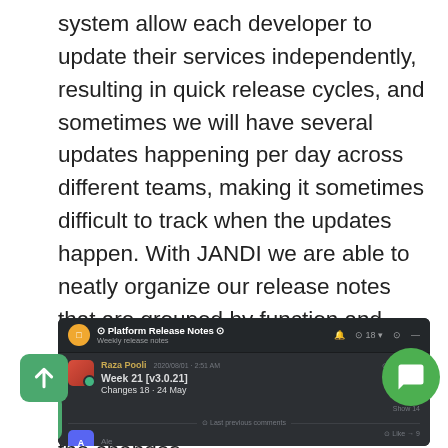system allow each developer to update their services independently, resulting in quick release cycles, and sometimes we will have several updates happening per day across different teams, making it sometimes difficult to track when the updates happen. With JANDI we are able to neatly organize our release notes that are grouped by function and calendar weeks which make it easy for developers to report their updates for everyone else to be able to follow the changes.
[Figure (screenshot): Screenshot of JANDI messaging interface showing a channel called 'Platform Release Notes' with weekly release notes. A message from user 'Raza Pooli' dated 2020/08/01 shows 'Week 21 [v3.0.21]' and 'Changes 18 - 24 May'. There is a 'Last previous comments' divider and another message partially visible. UI elements include a back-to-top arrow button (green square) and a chat support button (green circle).]